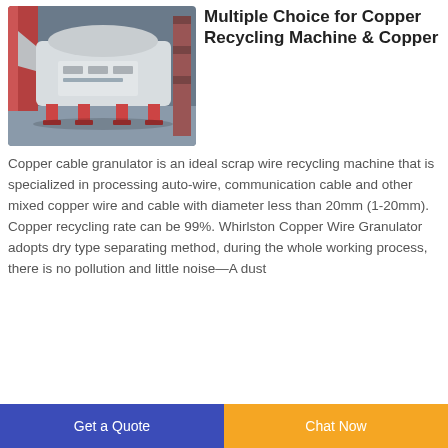[Figure (photo): Industrial copper cable granulator machine, grey/white colored with orange feet, inside a factory/warehouse setting]
Multiple Choice for Copper Recycling Machine & Copper
Copper cable granulator is an ideal scrap wire recycling machine that is specialized in processing auto-wire, communication cable and other mixed copper wire and cable with diameter less than 20mm (1-20mm). Copper recycling rate can be 99%. Whirlston Copper Wire Granulator adopts dry type separating method, during the whole working process, there is no pollution and little noise—A dust